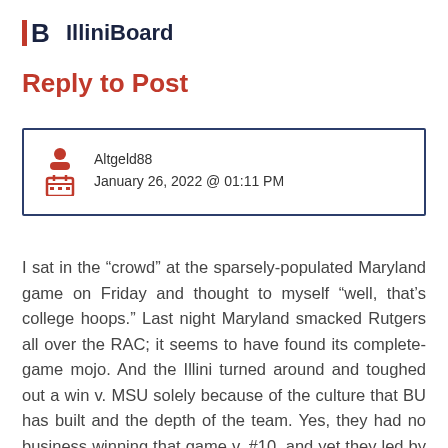IlliniBoard
Reply to Post
| Altgeld88 | January 26, 2022 @ 01:11 PM |
I sat in the “crowd” at the sparsely-populated Maryland game on Friday and thought to myself “well, that’s college hoops.” Last night Maryland smacked Rutgers all over the RAC; it seems to have found its complete-game mojo. And the Illini turned around and toughed out a win v. MSU solely because of the culture that BU has built and the depth of the team. Yes, they had no business winning that game v. #10, and yet they led by double digits for most of it.